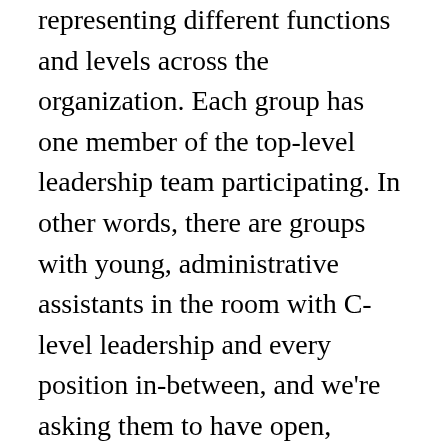representing different functions and levels across the organization. Each group has one member of the top-level leadership team participating. In other words, there are groups with young, administrative assistants in the room with C-level leadership and every position in-between, and we're asking them to have open, sometimes difficult conversations in their groups around culture. Crazy, right?! How is it possible to have a safe conversation this way?
Furthermore, we're not facilitating these conversations ourselves. Each group has a staff facilitator, someone who has demonstrated a proclivity for this role, but is not necessarily experienced at it. Rebecca Petzel and I are